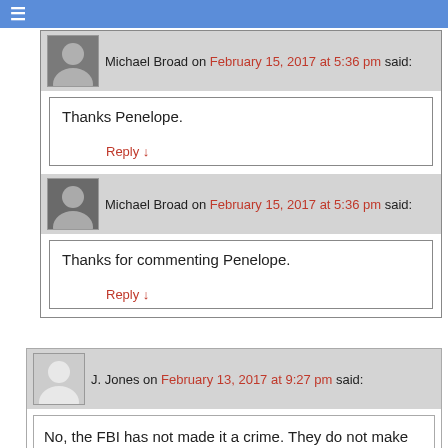☰
Michael Broad on February 15, 2017 at 5:36 pm said:
Thanks Penelope.
Reply ↓
Michael Broad on February 15, 2017 at 5:36 pm said:
Thanks for commenting Penelope.
Reply ↓
J. Jones on February 13, 2017 at 9:27 pm said:
No, the FBI has not made it a crime. They do not make laws. That is a different branch of the government. All the FBI does is collect information on anyone who has committed a crime...